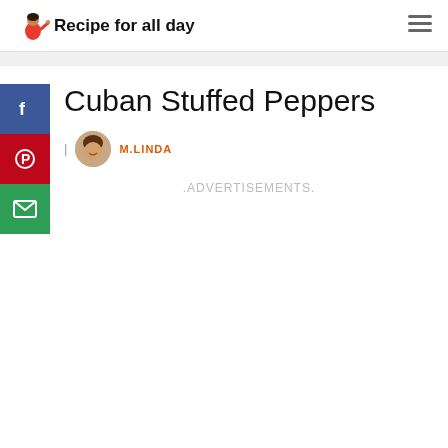Recipe for all day
Cuban Stuffed Peppers
M.LINDA
.ADVERTISEMENTS.